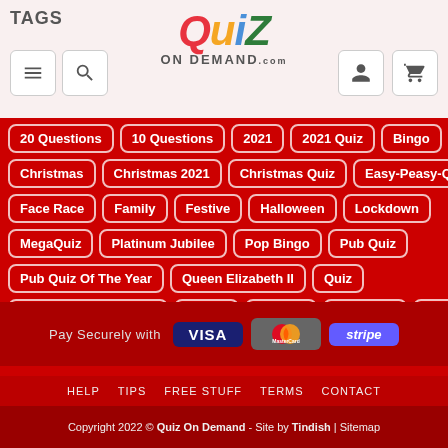TAGS
[Figure (logo): Quiz On Demand logo with colorful letters Q(red) U(orange) I(blue) Z(green)]
20 Questions
10 Questions
2021
2021 Quiz
Bingo
Christmas
Christmas 2021
Christmas Quiz
Easy-Peasy-Quiz
Face Race
Family
Festive
Halloween
Lockdown
MegaQuiz
Platinum Jubilee
Pop Bingo
Pub Quiz
Pub Quiz Of The Year
Queen Elizabeth II
Quiz
Quiz Of The Year 2021
review
Rounds
Table Top
Themed
Weekly
year
Pay Securely with VISA MasterCard stripe
HELP  TIPS  FREE STUFF  TERMS  CONTACT
Copyright 2022 © Quiz On Demand - Site by Tindish | Sitemap